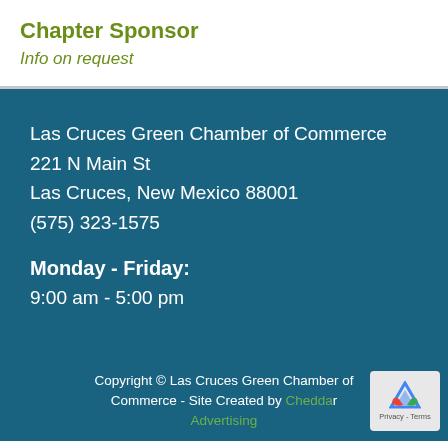Chapter Sponsor
Info on request
Las Cruces Green Chamber of Commerce
221 N Main St
Las Cruces, New Mexico 88001
(575) 323-1575
Monday - Friday:
9:00 am - 5:00 pm
Copyright © Las Cruces Green Chamber of Commerce - Site Created by Cheddar Advertising